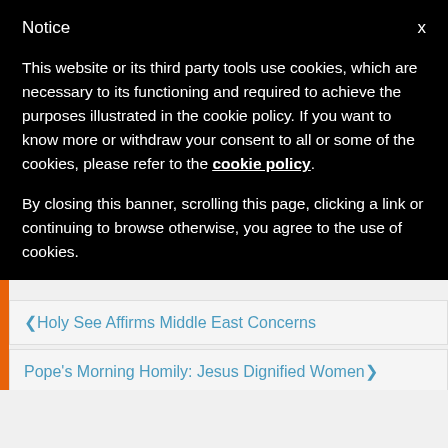Notice
This website or its third party tools use cookies, which are necessary to its functioning and required to achieve the purposes illustrated in the cookie policy. If you want to know more or withdraw your consent to all or some of the cookies, please refer to the cookie policy.
By closing this banner, scrolling this page, clicking a link or continuing to browse otherwise, you agree to the use of cookies.
Holy See Affirms Middle East Concerns
Pope's Morning Homily: Jesus Dignified Women